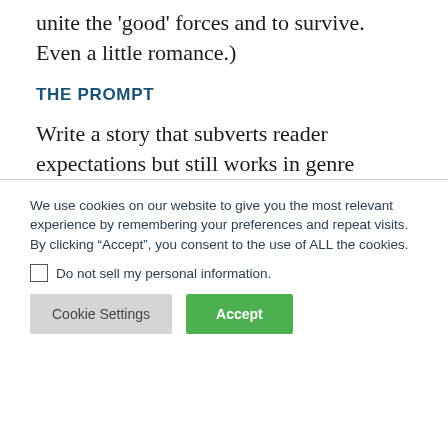unite the 'good' forces and to survive. Even a little romance.)
THE PROMPT
Write a story that subverts reader expectations but still works in genre
We use cookies on our website to give you the most relevant experience by remembering your preferences and repeat visits. By clicking “Accept”, you consent to the use of ALL the cookies.
Do not sell my personal information.
Cookie Settings
Accept